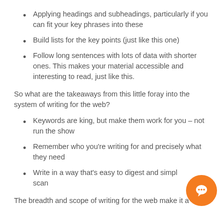Applying headings and subheadings, particularly if you can fit your key phrases into these
Build lists for the key points (just like this one)
Follow long sentences with lots of data with shorter ones. This makes your material accessible and interesting to read, just like this.
So what are the takeaways from this little foray into the system of writing for the web?
Keywords are king, but make them work for you – not run the show
Remember who you're writing for and precisely what they need
Write in a way that's easy to digest and simple to scan
The breadth and scope of writing for the web make it a